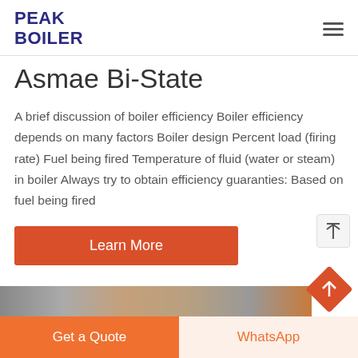PEAK BOILER
Asmae Bi-State
A brief discussion of boiler efficiency Boiler efficiency depends on many factors Boiler design Percent load (firing rate) Fuel being fired Temperature of fluid (water or steam) in boiler Always try to obtain efficiency guaranties: Based on fuel being fired
[Figure (other): Learn More button — orange/red rectangular button with white text]
[Figure (photo): Partial image strip showing boiler/industrial equipment photos at the bottom]
[Figure (other): Orange diamond-shaped scroll-to-top button with upward arrow, bottom right corner]